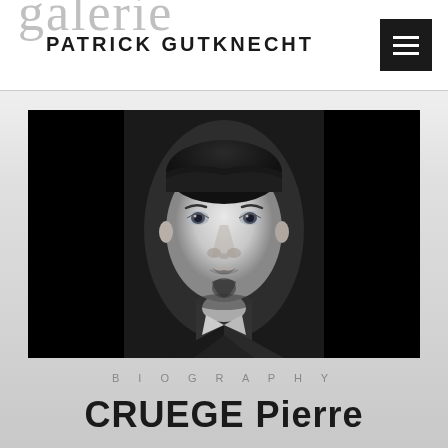galerie PATRICK GUTKNECHT
[Figure (photo): Black and white portrait photograph of Pierre Cruege, a man with dark slicked-back hair and a goatee beard, wearing a dark suit, set against a black background]
BIOGRAPHY
CRUEGE Pierre